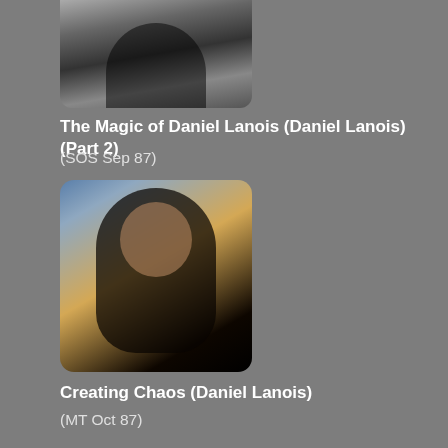[Figure (photo): Black and white photo of a person (partial, cropped at top), shown from approximately shoulders up]
The Magic of Daniel Lanois (Daniel Lanois) (Part 2)
(SOS Sep 87)
[Figure (photo): Color portrait photo of a person with long dark hair against a sunset/colorful background]
Creating Chaos (Daniel Lanois)
(MT Oct 87)
[Figure (photo): Color photo of a person seated in a room, wearing a white shirt with arms crossed]
Ethnic Fanfare (Jon Hassell)
(MT Dec 87)
[Figure (photo): Black and white photo of a person, partially visible, cropped at bottom of page]